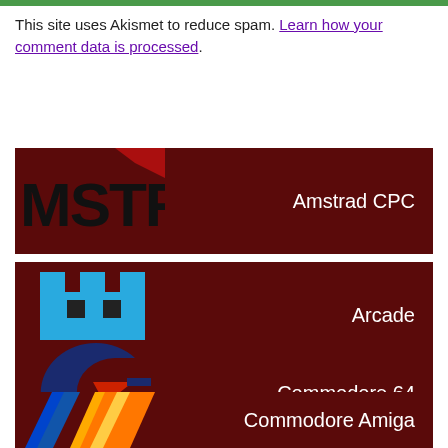This site uses Akismet to reduce spam. Learn how your comment data is processed.
[Figure (logo): Amstrad CPC banner with MSTRA logo text on dark red background]
[Figure (logo): Arcade banner with space invader style icon on dark red background]
[Figure (logo): Commodore 64 banner with C= logo on dark red background]
[Figure (logo): Commodore Amiga banner with striped chevron logo on dark red background]